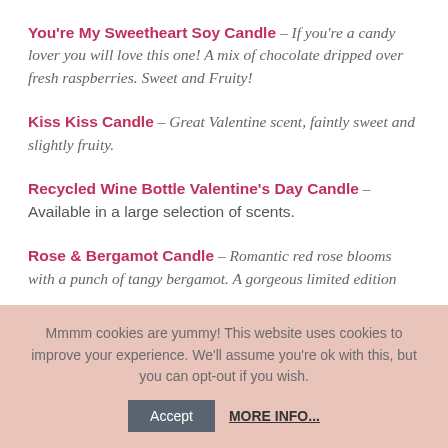You're My Sweetheart Soy Candle – If you're a candy lover you will love this one! A mix of chocolate dripped over fresh raspberries. Sweet and Fruity!
Kiss Kiss Candle – Great Valentine scent, faintly sweet and slightly fruity.
Recycled Wine Bottle Valentine's Day Candle – Available in a large selection of scents.
Rose & Bergamot Candle – Romantic red rose blooms with a punch of tangy bergamot. A gorgeous limited edition
Mmmm cookies are yummy! This website uses cookies to improve your experience. We'll assume you're ok with this, but you can opt-out if you wish. Accept MORE INFO...